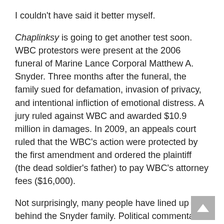I couldn't have said it better myself.
Chaplinksy is going to get another test soon.  WBC protestors were present at the 2006 funeral of Marine Lance Corporal Matthew A. Snyder.  Three months after the funeral, the family sued for defamation, invasion of privacy, and intentional infliction of emotional distress.  A jury ruled against WBC and awarded $10.9 million in damages.  In 2009, an appeals court ruled that the WBC's action were protected by the first amendment and ordered the plaintiff (the dead soldier's father) to pay WBC's attorney fees ($16,000).
Not surprisingly, many people have lined up behind the Snyder family.  Political commentator Bill O'Reilly has offered to pick up the tab, and thousands of others have pledge donations.
The US Supreme Court has granted certiorari to the case of Snyder vs. Phelps (Fred Phelps is the head of